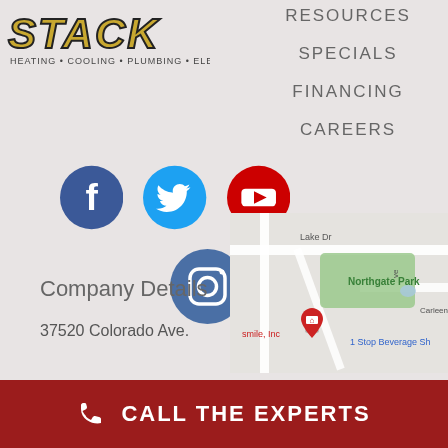[Figure (logo): STACK Heating Cooling Plumbing Electric company logo]
RESOURCES
SPECIALS
FINANCING
CAREERS
[Figure (infographic): Social media icons: Facebook, Twitter, YouTube, Instagram]
Company Details
37520 Colorado Ave.
[Figure (map): Google Maps screenshot showing Northgate Park area with smile Inc location marker, Lake Dr, Carleen Ave, and 1 Stop Beverage Sh]
CALL THE EXPERTS